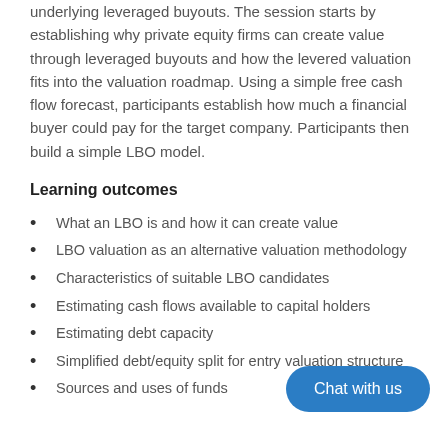underlying leveraged buyouts. The session starts by establishing why private equity firms can create value through leveraged buyouts and how the levered valuation fits into the valuation roadmap. Using a simple free cash flow forecast, participants establish how much a financial buyer could pay for the target company. Participants then build a simple LBO model.
Learning outcomes
What an LBO is and how it can create value
LBO valuation as an alternative valuation methodology
Characteristics of suitable LBO candidates
Estimating cash flows available to capital holders
Estimating debt capacity
Simplified debt/equity split for entry valuation structure
Sources and uses of funds
[Figure (other): Blue rounded rectangle button labeled 'Chat with us']